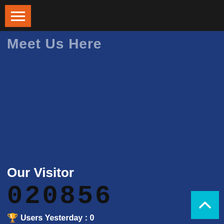[Figure (screenshot): Orange hamburger menu button on dark top navigation bar]
Meet Us Here
Our Visitor
020856
Users Yesterday : 0
Users Last 30 days : 156